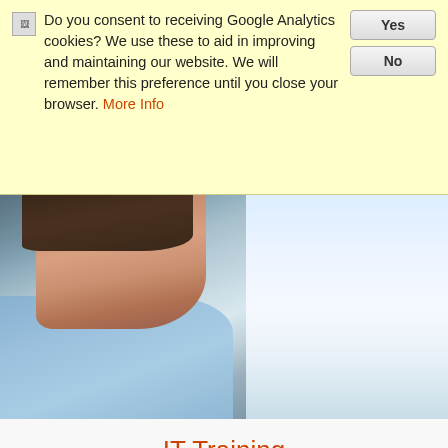Do you consent to receiving Google Analytics cookies? We use these to aid in improving and maintaining our website. We will remember this preference until you close your browser. More Info
[Figure (photo): A man in a light blue shirt smiling, viewed from the side, appearing to look at a computer screen or monitor in a bright office environment.]
IT Training
You need to equip your employees with the skills to utilize your software applications to the maximum potential. Technology